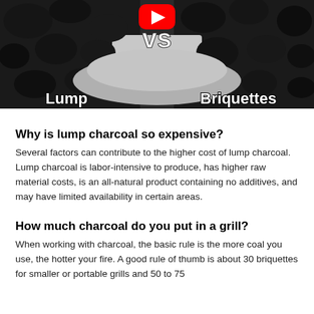[Figure (screenshot): YouTube video thumbnail showing lump charcoal vs briquettes with text 'vs', 'Lump', and 'Briquettes' overlaid on a photo of charcoal pieces. YouTube play button icon visible at top.]
Why is lump charcoal so expensive?
Several factors can contribute to the higher cost of lump charcoal. Lump charcoal is labor-intensive to produce, has higher raw material costs, is an all-natural product containing no additives, and may have limited availability in certain areas.
How much charcoal do you put in a grill?
When working with charcoal, the basic rule is the more coal you use, the hotter your fire. A good rule of thumb is about 30 briquettes for smaller or portable grills and 50 to 75